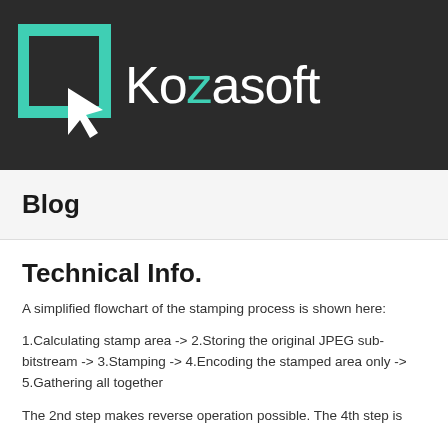[Figure (logo): Kozasoft logo: teal square outline with white cursor arrow, and the brand name Kozasoft in white with the letter z in teal, on a dark background]
Blog
Technical Info.
A simplified flowchart of the stamping process is shown here:
1.Calculating stamp area -> 2.Storing the original JPEG sub-bitstream -> 3.Stamping -> 4.Encoding the stamped area only -> 5.Gathering all together
The 2nd step makes reverse operation possible. The 4th step is